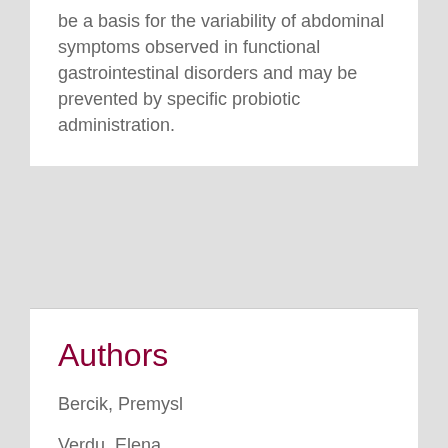be a basis for the variability of abdominal symptoms observed in functional gastrointestinal disorders and may be prevented by specific probiotic administration.
Authors
Bercik, Premysl
Verdu, Elena
Status
published